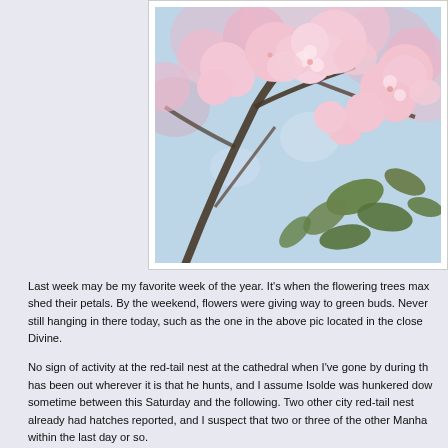[Figure (photo): Close-up photograph of pink cherry blossom flowers with green leaves on branches, soft bokeh background]
Last week may be my favorite week of the year. It’s when the flowering trees max shed their petals. By the weekend, flowers were giving way to green buds. Never still hanging in there today, such as the one in the above pic located in the close Divine.
No sign of activity at the red-tail nest at the cathedral when I’ve gone by during th has been out wherever it is that he hunts, and I assume Isolde was hunkered dow sometime between this Saturday and the following. Two other city red-tail nest already had hatches reported, and I suspect that two or three of the other Manha within the last day or so.
I did find one mama sitting on her nest today. It looks like Morningside Park will h